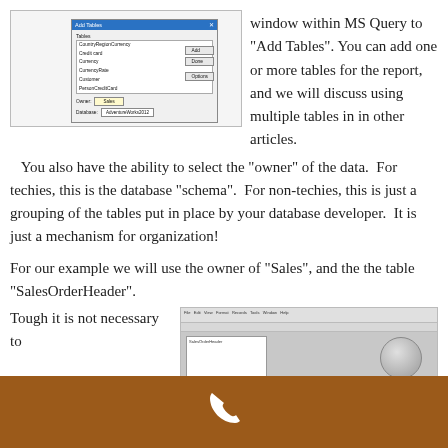[Figure (screenshot): Screenshot of MS Query 'Add Tables' dialog window showing a list of database tables with 'SalesOrderHeader' selected (highlighted in blue), and 'Add' and 'Done' buttons on the right side. The dialog also has Owner and Database dropdown fields at the bottom.]
window within MS Query to “Add Tables”. You can add one or more tables for the report, and we will discuss using multiple tables in in other articles. You also have the ability to select the “owner” of the data. For techies, this is the database “schema”. For non-techies, this is just a grouping of the tables put in place by your database developer. It is just a mechanism for organization!
For our example we will use the owner of “Sales”, and the the table “SalesOrderHeader”.
Tough it is not necessary to
[Figure (screenshot): Screenshot of MS Query application window showing a query design interface with a panel on the left and a circular/oval shape on the right side of the body area.]